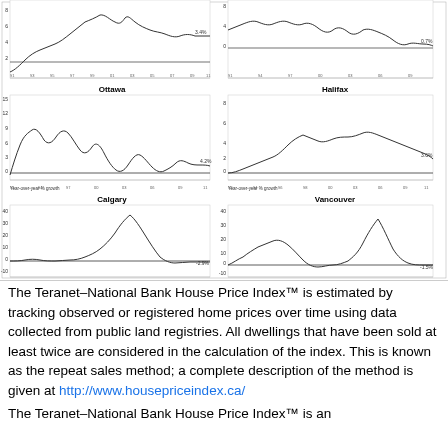[Figure (line-chart): Six line charts showing year-over-year percent growth in house prices for Ottawa, Halifax, Calgary, and Vancouver (plus two others cropped at top). Each chart shows fluctuating lines over time with a zero reference line.]
The Teranet–National Bank House Price Index™ is estimated by tracking observed or registered home prices over time using data collected from public land registries. All dwellings that have been sold at least twice are considered in the calculation of the index. This is known as the repeat sales method; a complete description of the method is given at http://www.housepriceindex.ca/
The Teranet–National Bank House Price Index™ is an